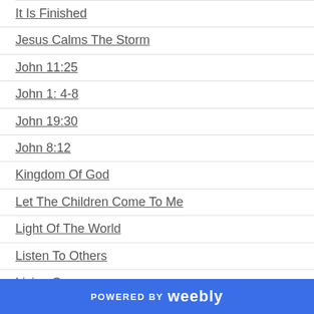It Is Finished
Jesus Calms The Storm
John 11:25
John 1: 4-8
John 19:30
John 8:12
Kingdom Of God
Let The Children Come To Me
Light Of The World
Listen To Others
Living Once
Lost
Love One Another
Luke 15:11-24
POWERED BY weebly